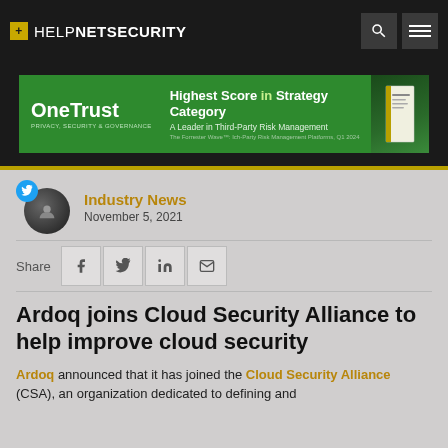+ HELPNETSECURITY
[Figure (other): OneTrust advertisement banner: green background, OneTrust Privacy Security & Governance logo on left, 'Highest Score in Strategy Category – A Leader in Third-Party Risk Management' text in center, book image on right]
Industry News
November 5, 2021
Share
Ardoq joins Cloud Security Alliance to help improve cloud security
Ardoq announced that it has joined the Cloud Security Alliance (CSA), an organization dedicated to defining and driving best practices to help ensure a secure cloud computing environment.